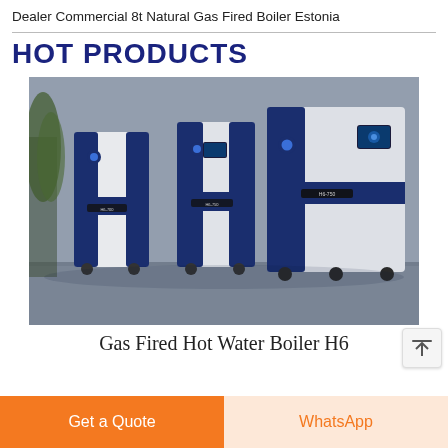Dealer Commercial 8t Natural Gas Fired Boiler Estonia
HOT PRODUCTS
[Figure (photo): Three industrial gas-fired hot water boilers in blue and white/grey finish, labeled H6-700, H6-750, H6-750, displayed in a showroom with grey stone wall background and plant.]
Gas Fired Hot Water Boiler H6
Get a Quote
WhatsApp